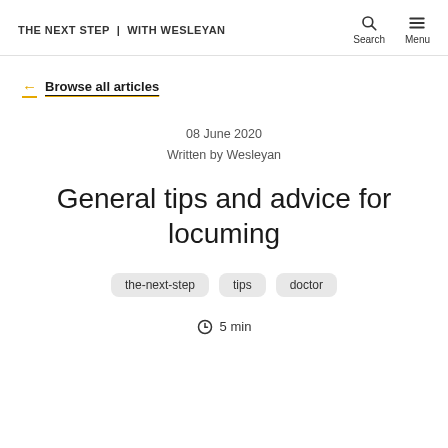THE NEXT STEP | WITH WESLEYAN
← Browse all articles
08 June 2020
Written by Wesleyan
General tips and advice for locuming
the-next-step   tips   doctor
5 min